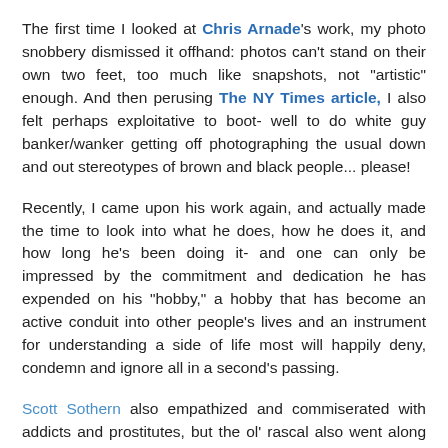The first time I looked at Chris Arnade's work, my photo snobbery dismissed it offhand: photos can't stand on their own two feet, too much like snapshots, not "artistic" enough. And then perusing The NY Times article, I also felt perhaps exploitative to boot- well to do white guy banker/wanker getting off photographing the usual down and out stereotypes of brown and black people... please!
Recently, I came upon his work again, and actually made the time to look into what he does, how he does it, and how long he's been doing it- and one can only be impressed by the commitment and dedication he has expended on his "hobby," a hobby that has become an active conduit into other people's lives and an instrument for understanding a side of life most will happily deny, condemn and ignore all in a second's passing.
Scott Sothern also empathized and commiserated with addicts and prostitutes, but the ol' rascal also went along for the ride (quite literally). Arnade's modus operandi more closely resembles Teresa Funke's documentary style...